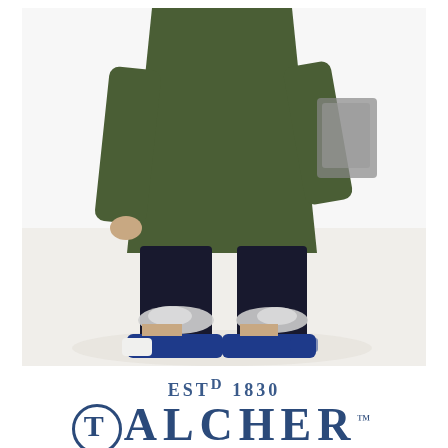[Figure (photo): Child walking in a dark olive/green long coat, black pants with snow on the cuffs, and blue sneakers, photographed from the torso down on a snowy white background]
ESTᴰ 1830
TALCHER™